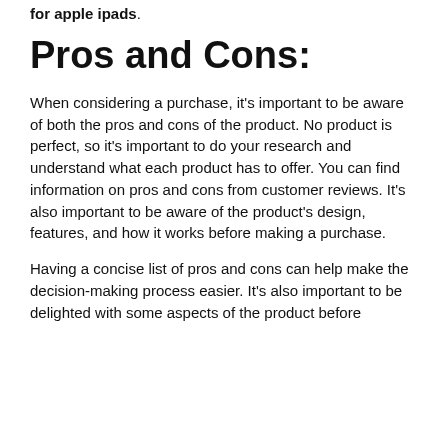for apple ipads.
Pros and Cons:
When considering a purchase, it's important to be aware of both the pros and cons of the product. No product is perfect, so it's important to do your research and understand what each product has to offer. You can find information on pros and cons from customer reviews. It's also important to be aware of the product's design, features, and how it works before making a purchase.
Having a concise list of pros and cons can help make the decision-making process easier. It's also important to be delighted with some aspects of the product before making a purchase.